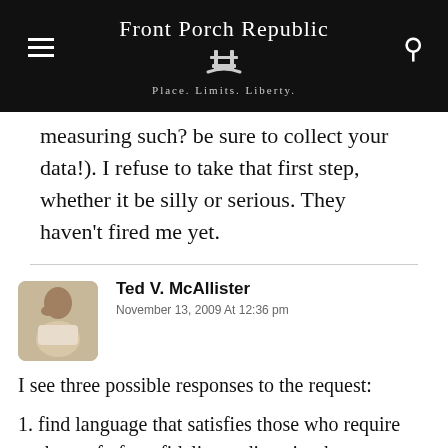Front Porch Republic — Place. Limits. Liberty.
measuring such? be sure to collect your data!). I refuse to take that first step, whether it be silly or serious. They haven't fired me yet.
Ted V. McAllister
November 13, 2009 At 12:36 pm
I see three possible responses to the request:
1. find language that satisfies those who require such proof of my fidelity to diversity thus conceived while ignoring